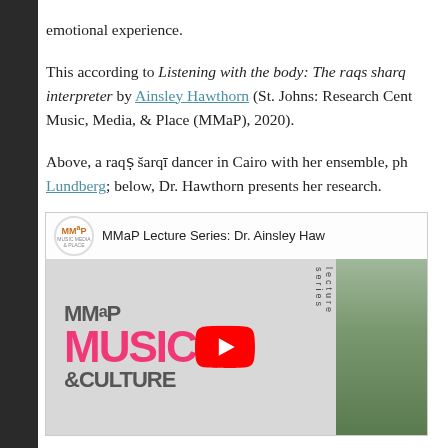emotional experience.
This according to Listening with the body: The raqs sharq interpreter by Ainsley Hawthorn (St. Johns: Research Centre for Music, Media, & Place (MMaP), 2020).
Above, a raqs šarqī dancer in Cairo with her ensemble, ph Lundberg; below, Dr. Hawthorn presents her research.
[Figure (screenshot): Embedded YouTube video thumbnail for MMaP Lecture Series: Dr. Ainsley Hawthorn, showing MMaP Music & Culture logo with pink MUSIC text, gray &CULTURE text, YouTube play button, and partial image of a person on the right.]